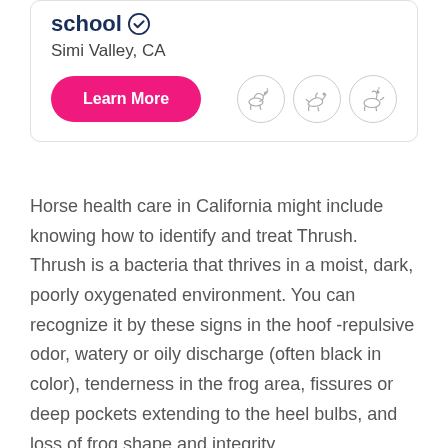school ✓
Simi Valley, CA
Learn More
[Figure (illustration): Three circular icons with horse riding illustrations (western/rodeo style), outlined in light gray]
Horse health care in California might include knowing how to identify and treat Thrush. Thrush is a bacteria that thrives in a moist, dark, poorly oxygenated environment. You can recognize it by these signs in the hoof -repulsive odor, watery or oily discharge (often black in color), tenderness in the frog area, fissures or deep pockets extending to the heel bulbs, and loss of frog shape and integrity.